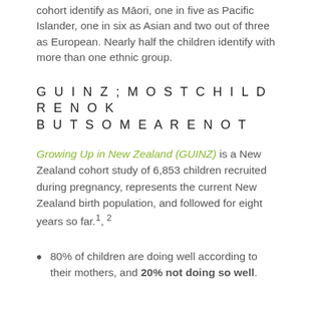cohort identify as Māori, one in five as Pacific Islander, one in six as Asian and two out of three as European. Nearly half the children identify with more than one ethnic group.
GUINZ; MOST CHILDREN OK BUT SOME ARE NOT
Growing Up in New Zealand (GUINZ) is a New Zealand cohort study of 6,853 children recruited during pregnancy, represents the current New Zealand birth population, and followed for eight years so far.¹,²
80% of children are doing well according to their mothers, and 20% not doing so well.